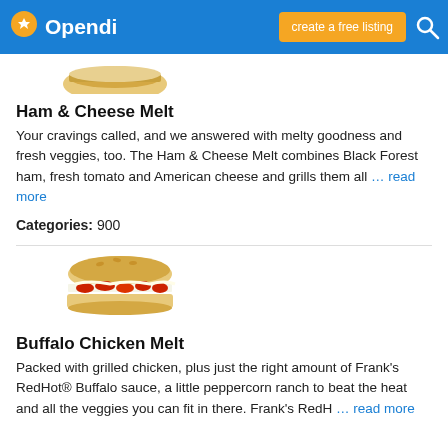Opendi | create a free listing
[Figure (photo): Partial view of a sandwich (Ham & Cheese Melt) at the top of the page]
Ham & Cheese Melt
Your cravings called, and we answered with melty goodness and fresh veggies, too. The Ham & Cheese Melt combines Black Forest ham, fresh tomato and American cheese and grills them all … read more
Categories: 900
[Figure (photo): Photo of a Buffalo Chicken Melt sandwich with red peppers and white sauce on a toasted roll]
Buffalo Chicken Melt
Packed with grilled chicken, plus just the right amount of Frank's RedHot® Buffalo sauce, a little peppercorn ranch to beat the heat and all the veggies you can fit in there. Frank's RedH … read more